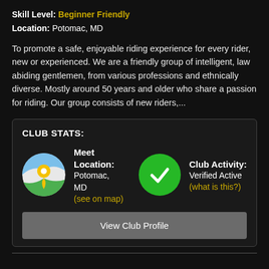Skill Level: Beginner Friendly
Location: Potomac, MD
To promote a safe, enjoyable riding experience for every rider, new or experienced. We are a friendly group of intelligent, law abiding gentlemen, from various professions and ethnically diverse. Mostly around 50 years and older who share a passion for riding. Our group consists of new riders,...
CLUB STATS:
[Figure (infographic): Club stats panel with map icon and meet location (Potomac, MD, see on map), green checkmark icon and Club Activity: Verified Active (what is this?), and a View Club Profile button.]